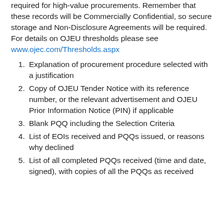project managers on the completeness of the records required for high-value procurements. Remember that these records will be Commercially Confidential, so secure storage and Non-Disclosure Agreements will be required. For details on OJEU thresholds please see www.ojec.com/Thresholds.aspx
1. Explanation of procurement procedure selected with a justification
2. Copy of OJEU Tender Notice with its reference number, or the relevant advertisement and OJEU Prior Information Notice (PIN) if applicable
3. Blank PQQ including the Selection Criteria
4. List of EOIs received and PQQs issued, or reasons why declined
5. List of all completed PQQs received (time and date, signed), with copies of all the PQQs as received